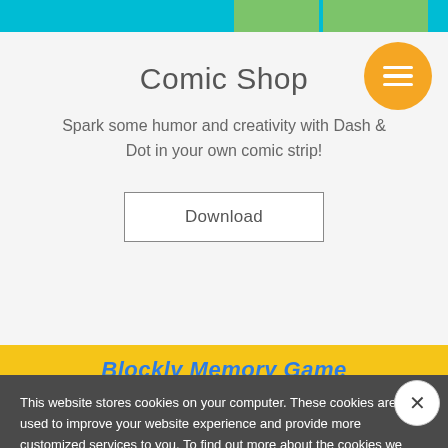[Figure (screenshot): Top navigation banner with teal and green colored blocks]
[Figure (other): Orange circular hamburger menu button with three white lines]
Comic Shop
Spark some humor and creativity with Dash & Dot in your own comic strip!
[Figure (other): Download button with border]
Blockly Memory Game
This website stores cookies on your computer. These cookies are used to improve your website experience and provide more customized services to you. To find out more about the cookies we use, see our privacy policy. To accept cookies from this site, please click the accept button.
[Figure (other): I Accept button in cookie notification banner]